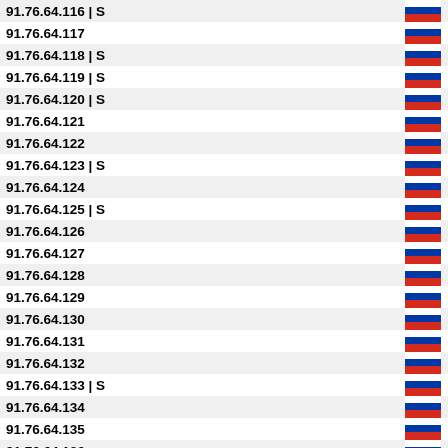| IP | Flag |
| --- | --- |
| 91.76.64.116 | S | RU |
| 91.76.64.117 | RU |
| 91.76.64.118 | S | RU |
| 91.76.64.119 | S | RU |
| 91.76.64.120 | S | RU |
| 91.76.64.121 | RU |
| 91.76.64.122 | RU |
| 91.76.64.123 | S | RU |
| 91.76.64.124 | RU |
| 91.76.64.125 | S | RU |
| 91.76.64.126 | RU |
| 91.76.64.127 | RU |
| 91.76.64.128 | RU |
| 91.76.64.129 | RU |
| 91.76.64.130 | RU |
| 91.76.64.131 | RU |
| 91.76.64.132 | RU |
| 91.76.64.133 | S | RU |
| 91.76.64.134 | RU |
| 91.76.64.135 | RU |
| 91.76.64.136 | RU |
| 91.76.64.137 | RU |
| 91.76.64.138 | RU |
| 91.76.64.139 | RU |
| 91.76.64.140 | RU |
| 91.76.64.141 | S | RU |
| 91.76.64.142 | SD | RU |